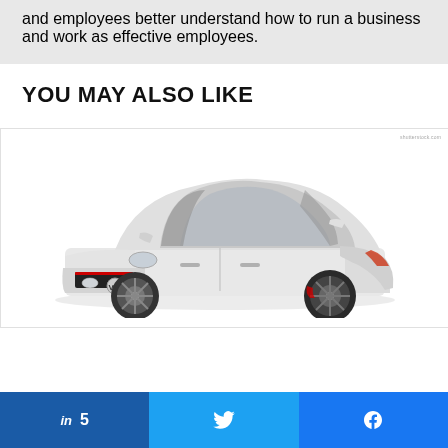and employees better understand how to run a business and work as effective employees.
YOU MAY ALSO LIKE
[Figure (photo): White Volkswagen GTI hatchback car on white background]
LinkedIn share: 5 | Twitter share | Facebook share